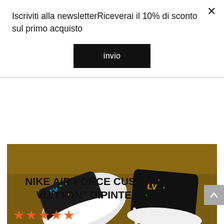Iscriviti alla newsletterRiceverai il 10% di sconto sul primo acquisto
invio
[Figure (photo): Two Nike Air Force 1 custom shoes with Louis Vuitton monogram pattern painted in multicolor (black background with LV logos in red, yellow, blue, green) on a brown suede surface, viewed from above.]
NIKE AIR FORCE CUSTOM “LOUIS VUITTON” DIPINTE A MANO....
★★★★★